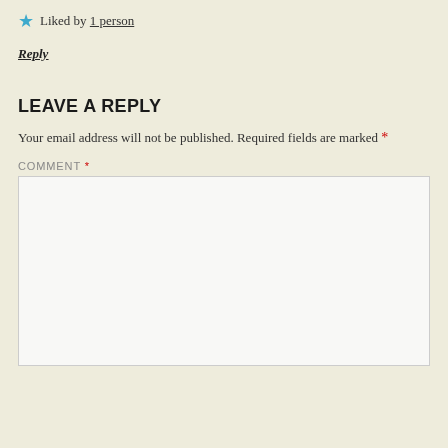Liked by 1 person
Reply
LEAVE A REPLY
Your email address will not be published. Required fields are marked *
COMMENT *